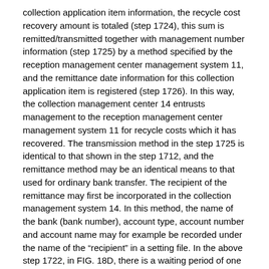collection application item information, the recycle cost recovery amount is totaled (step 1724), this sum is remitted/transmitted together with management number information (step 1725) by a method specified by the reception management center management system 11, and the remittance date information for this collection application item is registered (step 1726). In this way, the collection management center 14 entrusts management to the reception management center management system 11 for recycle costs which it has recovered. The transmission method in the step 1725 is identical to that shown in the step 1712, and the remittance method may be an identical means to that used for ordinary bank transfer. The recipient of the remittance may first be incorporated in the collection management system 14. In this method, the name of the bank (bank number), account type, account number and account name may for example be recorded under the name of the “recipient” in a setting file. In the above step 1722, in FIG. 18D, there is a waiting period of one day, but the sum can be remitted a certain number of days or on a certain date specified by the system such as after a waiting period of one week or ten days.
[0104] The recycle cost recovery sum is totaled in the step 1724, and this is transmitted as remittance information together with the management numbers which were totaled in the step 1725, but identical processing can be performed also when money is remitted/transmitted separately for each management number excepting that the step 1724 is unnecessary. This is